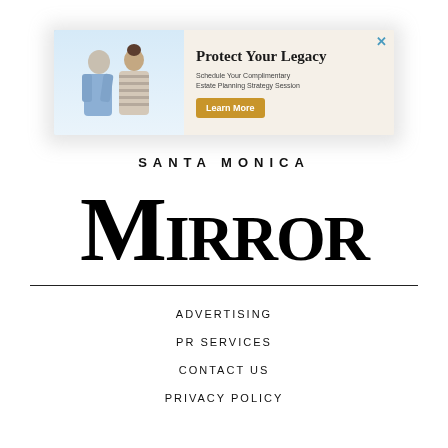[Figure (illustration): Advertisement banner: 'Protect Your Legacy' with two people from behind and a 'Learn More' button. Schedule Your Complimentary Estate Planning Strategy Session.]
[Figure (logo): Santa Monica Mirror newspaper logo in blackletter/Old English style]
ADVERTISING
PR SERVICES
CONTACT US
PRIVACY POLICY